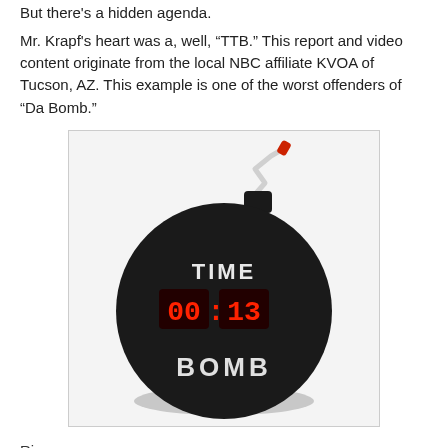But there's a hidden agenda.
Mr. Krapf's heart was a, well, “TTB.” This report and video content originate from the local NBC affiliate KVOA of Tucson, AZ. This example is one of the worst offenders of “Da Bomb.”
[Figure (photo): A novelty black round time bomb with a digital clock display showing red LED numbers (00:13), labeled TIME at the top and BOMB at the bottom in white letters, with a white fuse topped with a red tip.]
District...